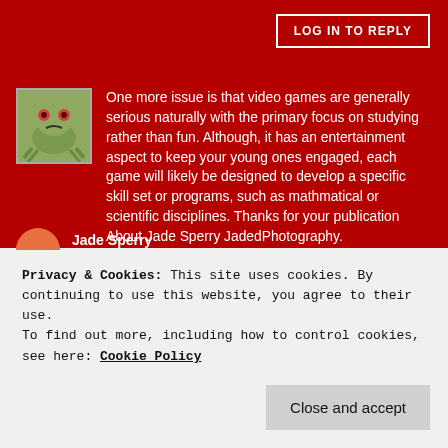LOG IN TO REPLY
One more issue is that video games are generally serious naturally with the primary focus on studying rather than fun. Although, it has an entertainment aspect to keep your young ones engaged, each game will likely be designed to develop a specific skill set or programs, such as mathmatical or scientific disciplines. Thanks for your publication About Jade Sperry JadedPhotography.
Like
Privacy & Cookies: This site uses cookies. By continuing to use this website, you agree to their use.
To find out more, including how to control cookies, see here: Cookie Policy
Close and accept
Jade Sperry